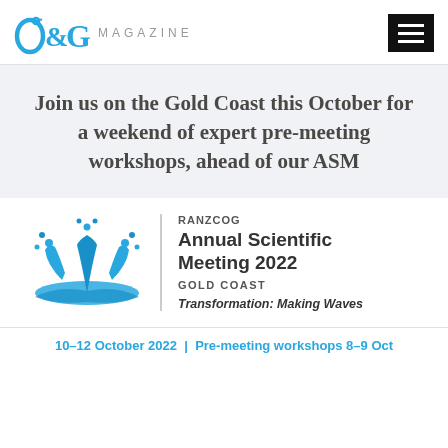O&G MAGAZINE
Join us on the Gold Coast this October for a weekend of expert pre-meeting workshops, ahead of our ASM
[Figure (logo): RANZCOG Annual Scientific Meeting 2022 logo — blue wave/splash graphic with event details: RANZCOG Annual Scientific Meeting 2022, Gold Coast, Transformation: Making Waves]
10–12 October 2022  |  Pre-meeting workshops 8–9 Oct